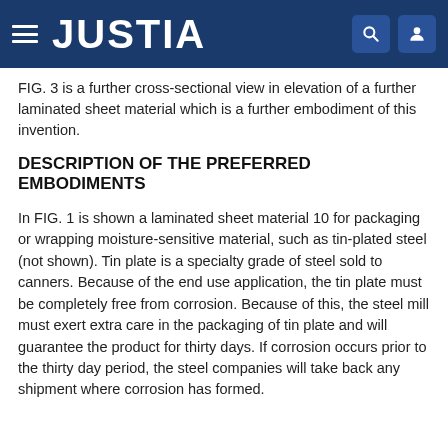JUSTIA
FIG. 3 is a further cross-sectional view in elevation of a further laminated sheet material which is a further embodiment of this invention.
DESCRIPTION OF THE PREFERRED EMBODIMENTS
In FIG. 1 is shown a laminated sheet material 10 for packaging or wrapping moisture-sensitive material, such as tin-plated steel (not shown). Tin plate is a specialty grade of steel sold to canners. Because of the end use application, the tin plate must be completely free from corrosion. Because of this, the steel mill must exert extra care in the packaging of tin plate and will guarantee the product for thirty days. If corrosion occurs prior to the thirty day period, the steel companies will take back any shipment where corrosion has formed.